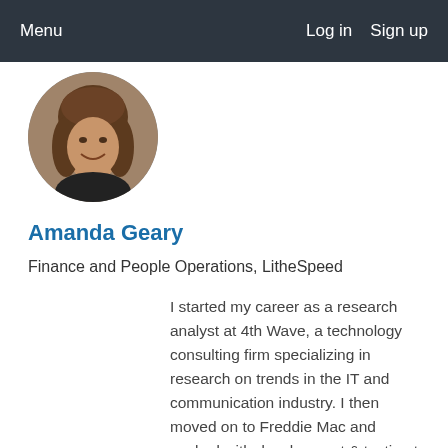Menu    Log in   Sign up
[Figure (photo): Circular profile photo of Amanda Geary, a woman with long brown hair, smiling, wearing a dark top.]
Amanda Geary
Finance and People Operations, LitheSpeed
I started my career as a research analyst at 4th Wave, a technology consulting firm specializing in research on trends in the IT and communication industry. I then moved on to Freddie Mac and worked with development & testing to analyze market needs and implement product offerings... Read More →